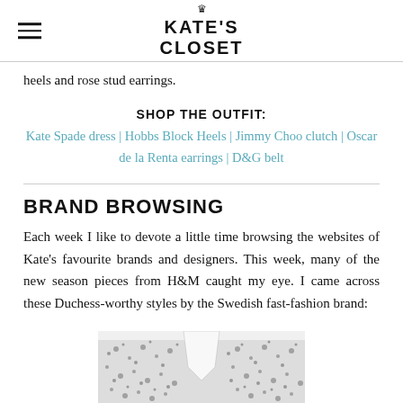KATE'S CLOSET
heels and rose stud earrings.
SHOP THE OUTFIT:
Kate Spade dress | Hobbs Block Heels | Jimmy Choo clutch | Oscar de la Renta earrings | D&G belt
BRAND BROWSING
Each week I like to devote a little time browsing the websites of Kate's favourite brands and designers. This week, many of the new season pieces from H&M caught my eye. I came across these Duchess-worthy styles by the Swedish fast-fashion brand:
[Figure (photo): Partial view of a floral patterned blouse or shirt, black and white, visible from neckline/collar area]